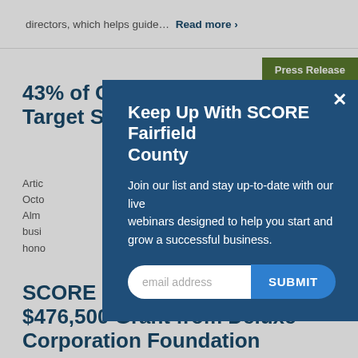directors, which helps guide… Read more >
Press Release
43% of Cyberattacks Target Small Businesses
Artic… Octo… Alm… busi… hono… Mac…
Press Release
SCORE Receives $476,500 Grant from Deluxe Corporation Foundation
Keep Up With SCORE Fairfield County
Join our list and stay up-to-date with our live webinars designed to help you start and grow a successful business.
email address
SUBMIT